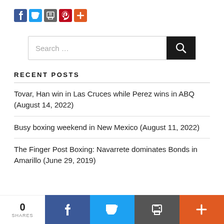[Figure (other): Social sharing icons: Facebook (blue), Twitter (light blue), print/share (gray), Pinterest (red), more/plus (orange-red)]
[Figure (other): Search bar with text 'Search ...' and a black search button with magnifying glass icon]
RECENT POSTS
Tovar, Han win in Las Cruces while Perez wins in ABQ (August 14, 2022)
Busy boxing weekend in New Mexico (August 11, 2022)
The Finger Post Boxing: Navarrete dominates Bonds in Amarillo (June 29, 2019)
[Figure (other): Bottom share bar with 0 SHARES count, Facebook, Twitter, email/print, and plus icons]